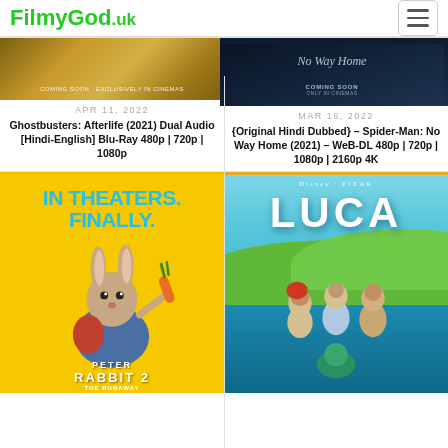FilmyGod.uk
[Figure (screenshot): Movie banner for Ghostbusters: Afterlife - golden/wheat field background with 'COMING SOON EXCLUSIVELY IN CINEMAS' text]
APR 11, 2022
Ghostbusters: Afterlife (2021) Dual Audio [Hindi-English] Blu-Ray 480p | 720p | 1080p
[Figure (screenshot): Movie banner for Spider-Man: No Way Home - dark navy background with 'No Way Home' italic text and 'COMING SOON ONLY IN CINEMAS']
MAR 16, 2022
{Original Hindi Dubbed} – Spider-Man: No Way Home (2021) – WeB-DL 480p | 720p | 1080p | 2160p 4K
[Figure (photo): Peter Rabbit 2 movie poster - yellow background with large rabbit character holding carrot, text 'IN THEATERS. FINALLY.' in blue, 'PETER RABBIT 2 THE RUNAWAY' at bottom]
[Figure (photo): Luca Disney Pixar movie poster - aqua/ocean background with characters, 'LUCA' title in large white letters, Disney Pixar branding at top]